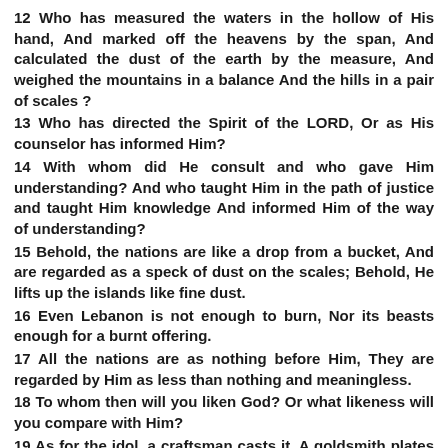12 Who has measured the waters in the hollow of His hand, And marked off the heavens by the span, And calculated the dust of the earth by the measure, And weighed the mountains in a balance And the hills in a pair of scales ?
13 Who has directed the Spirit of the LORD, Or as His counselor has informed Him?
14 With whom did He consult and who gave Him understanding? And who taught Him in the path of justice and taught Him knowledge And informed Him of the way of understanding?
15 Behold, the nations are like a drop from a bucket, And are regarded as a speck of dust on the scales; Behold, He lifts up the islands like fine dust.
16 Even Lebanon is not enough to burn, Nor its beasts enough for a burnt offering.
17 All the nations are as nothing before Him, They are regarded by Him as less than nothing and meaningless.
18 To whom then will you liken God? Or what likeness will you compare with Him?
19 As for the idol, a craftsman casts it, A goldsmith plates it